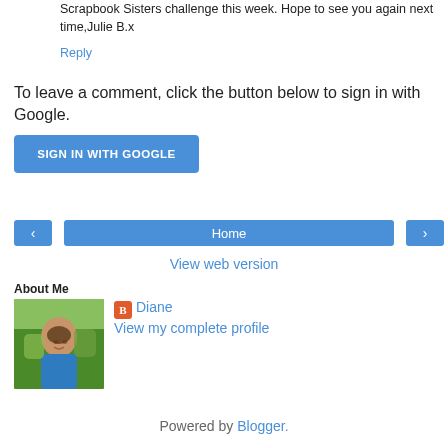Scrapbook Sisters challenge this week. Hope to see you again next time,Julie B.x
Reply
To leave a comment, click the button below to sign in with Google.
SIGN IN WITH GOOGLE
[Figure (screenshot): Navigation bar with left arrow button, Home center button, and right arrow button]
View web version
About Me
[Figure (photo): Profile photo of Diane, a person outdoors with green foliage background, wearing a blue top]
Diane
View my complete profile
Powered by Blogger.